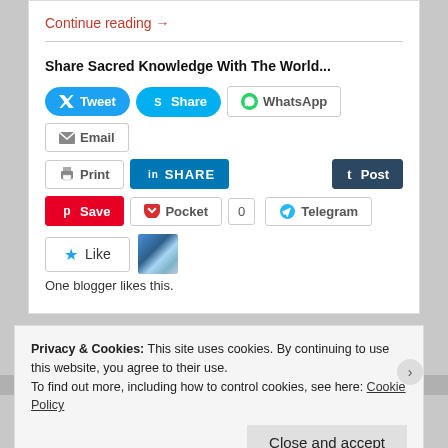Continue reading →
Share Sacred Knowledge With The World...
[Figure (infographic): Social sharing buttons: Tweet, Share (Skype), WhatsApp, Email, Print, LinkedIn SHARE, Tumblr Post, Pinterest Save, Pocket (0), Telegram]
[Figure (other): Like button with star icon and avatar thumbnail]
One blogger likes this.
Privacy & Cookies: This site uses cookies. By continuing to use this website, you agree to their use.
To find out more, including how to control cookies, see here: Cookie Policy
Close and accept